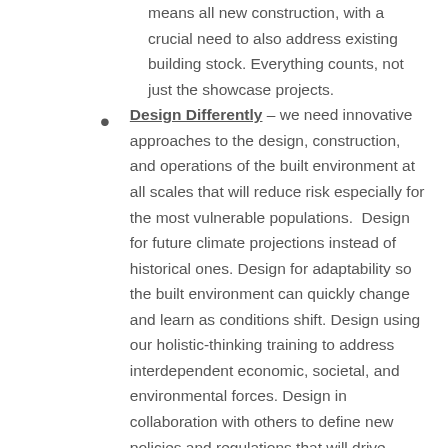means all new construction, with a crucial need to also address existing building stock. Everything counts, not just the showcase projects.
Design Differently – we need innovative approaches to the design, construction, and operations of the built environment at all scales that will reduce risk especially for the most vulnerable populations. Design for future climate projections instead of historical ones. Design for adaptability so the built environment can quickly change and learn as conditions shift. Design using our holistic-thinking training to address interdependent economic, societal, and environmental forces. Design in collaboration with others to define new policies and regulations that will drive change. We are creative